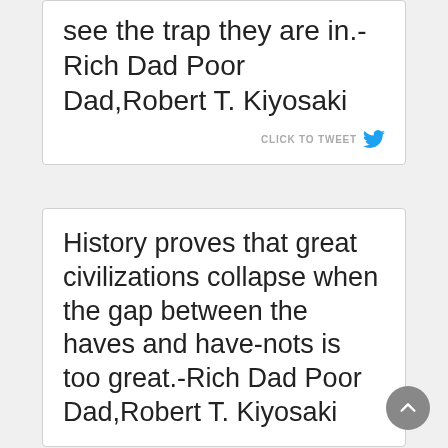see the trap they are in.-Rich Dad Poor Dad,Robert T. Kiyosaki
CLICK TO TWEET
History proves that great civilizations collapse when the gap between the haves and have-nots is too great.-Rich Dad Poor Dad,Robert T. Kiyosaki